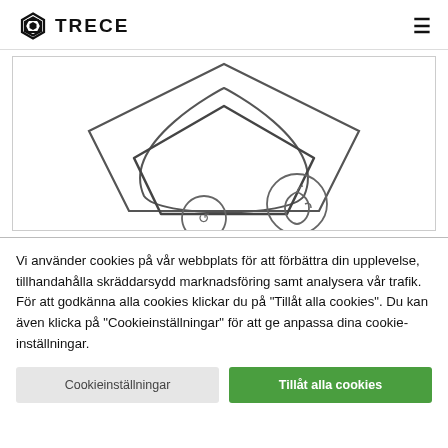TreCe
[Figure (illustration): Product illustration showing nested pentagon-shaped pheromone trap outlines with circular icons below, on white background]
Vi använder cookies på vår webbplats för att förbättra din upplevelse, tillhandahålla skräddarsydd marknadsföring samt analysera vår trafik. För att godkänna alla cookies klickar du på "Tillåt alla cookies". Du kan även klicka på "Cookieinställningar" för att ge anpassa dina cookie-inställningar.
Cookieinställningar | Tillåt alla cookies